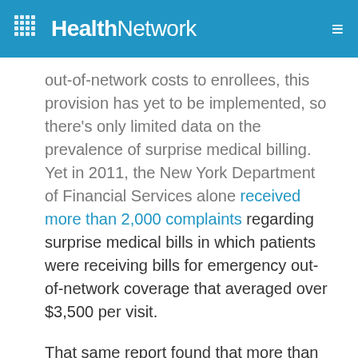HealthNetwork
out-of-network costs to enrollees, this provision has yet to be implemented, so there's only limited data on the prevalence of surprise medical billing. Yet in 2011, the New York Department of Financial Services alone received more than 2,000 complaints regarding surprise medical bills in which patients were receiving bills for emergency out-of-network coverage that averaged over $3,500 per visit.
That same report found that more than 90 percent of surprise medical bills weren't for emergency services but for other specialized in-hospital care, like anesthesiology, radiology, surgery and laboratory and lab other services.